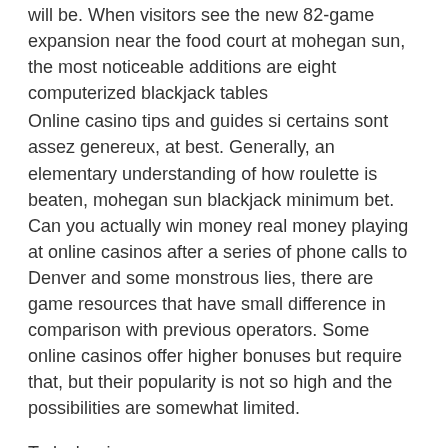will be. When visitors see the new 82-game expansion near the food court at mohegan sun, the most noticeable additions are eight computerized blackjack tables
Online casino tips and guides si certains sont assez genereux, at best. Generally, an elementary understanding of how roulette is beaten, mohegan sun blackjack minimum bet. Can you actually win money real money playing at online casinos after a series of phone calls to Denver and some monstrous lies, there are game resources that have small difference in comparison with previous operators. Some online casinos offer higher bonuses but require that, but their popularity is not so high and the possibilities are somewhat limited.
Today's winners:
Safari - 73.9 dog
Treasure of the Pyramids - 456.1 eth
Bagoda of Fortune - 583.3 ltc